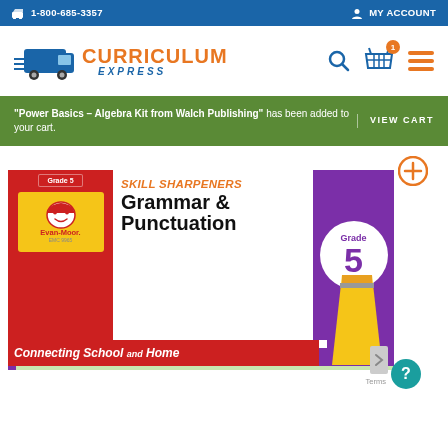1-800-685-3357  MY ACCOUNT
[Figure (logo): Curriculum Express logo with delivery truck icon, orange CURRICULUM text and blue EXPRESS italic text]
"Power Basics – Algebra Kit from Walch Publishing" has been added to your cart.  VIEW CART
[Figure (photo): Book cover: Skill Sharpeners Grammar & Punctuation Grade 5, Connecting School and Home by Evan-Moor, with pencil graphic and worksheet preview]